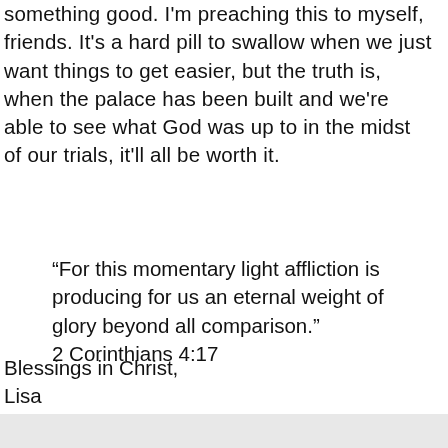something good. I'm preaching this to myself, friends. It's a hard pill to swallow when we just want things to get easier, but the truth is, when the palace has been built and we're able to see what God was up to in the midst of our trials, it'll all be worth it.
“For this momentary light affliction is producing for us an eternal weight of glory beyond all comparison.” 2 Corinthians 4:17
Blessings in Christ,
Lisa